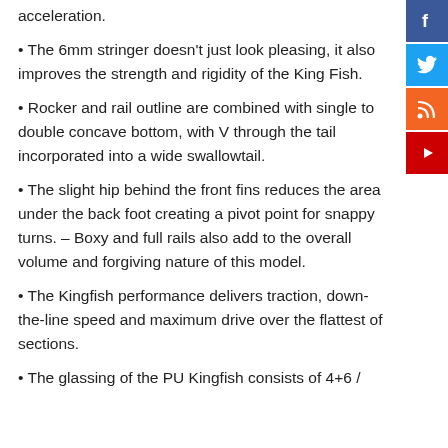acceleration.
• The 6mm stringer doesn't just look pleasing, it also improves the strength and rigidity of the King Fish.
• Rocker and rail outline are combined with single to double concave bottom, with V through the tail incorporated into a wide swallowtail.
• The slight hip behind the front fins reduces the area under the back foot creating a pivot point for snappy turns. – Boxy and full rails also add to the overall volume and forgiving nature of this model.
• The Kingfish performance delivers traction, down-the-line speed and maximum drive over the flattest of sections.
• The glassing of the PU Kingfish consists of 4+6 /